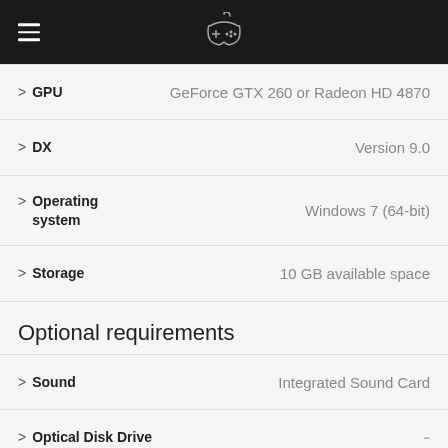[Figure (logo): Dark header bar with hamburger menu icon on the left and a game controller icon in the center]
> GPU   GeForce GTX 260 or Radeon HD 4870
> DX   Version 9.0
> Operating system   Windows 7 (64-bit)
> Storage   10 GB available space
Optional requirements
> Sound   Integrated Sound Card
> Optical Disk Drive   -
> Network connection   Broadband Internet connection
> Screen resolution   -